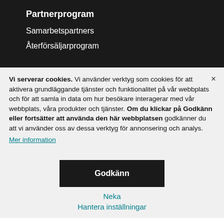Partnerprogram
Samarbetspartners
Återförsäljarprogram
Vi serverar cookies. Vi använder verktyg som cookies för att aktivera grundläggande tjänster och funktionalitet på vår webbplats och för att samla in data om hur besökare interagerar med vår webbplats, våra produkter och tjänster. Om du klickar på Godkänn eller fortsätter att använda den här webbplatsen godkänner du att vi använder oss av dessa verktyg för annonsering och analys.
Mer information
Godkänn
Neka
Hantera inställningar